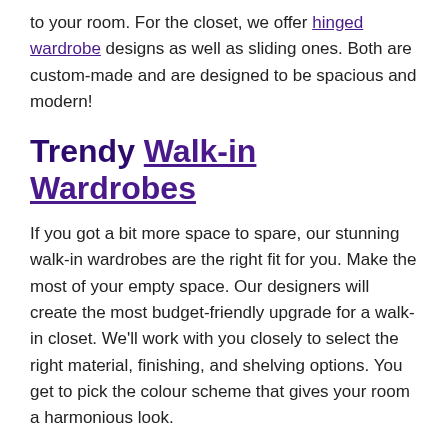to your room. For the closet, we offer hinged wardrobe designs as well as sliding ones. Both are custom-made and are designed to be spacious and modern!
Trendy Walk-in Wardrobes
If you got a bit more space to spare, our stunning walk-in wardrobes are the right fit for you. Make the most of your empty space. Our designers will create the most budget-friendly upgrade for a walk-in closet. We’ll work with you closely to select the right material, finishing, and shelving options. You get to pick the colour scheme that gives your room a harmonious look.